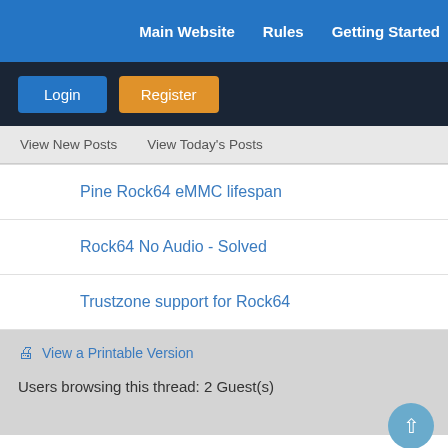Main Website   Rules   Getting Started
Login   Register
View New Posts   View Today's Posts
Pine Rock64 eMMC lifespan
Rock64 No Audio - Solved
Trustzone support for Rock64
View a Printable Version
Users browsing this thread: 2 Guest(s)
About Us